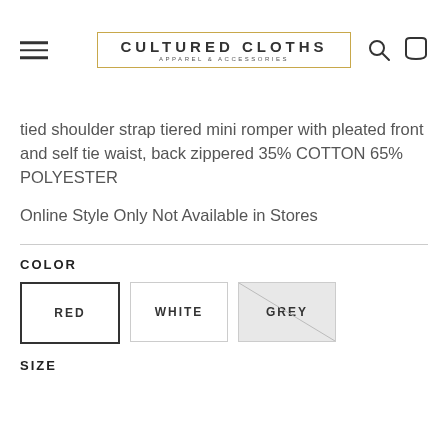CULTURED CLOTHS APPAREL & ACCESSORIES
tied shoulder strap tiered mini romper with pleated front and self tie waist, back zippered 35% COTTON 65% POLYESTER
Online Style Only Not Available in Stores
COLOR
RED | WHITE | GREY
SIZE